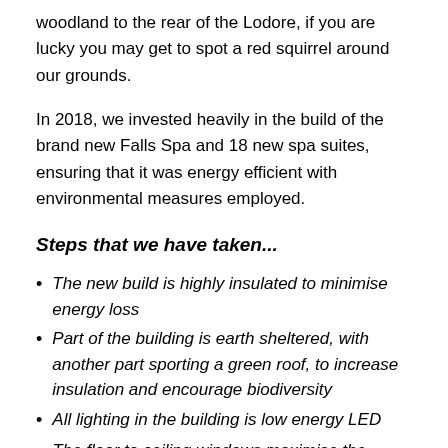woodland to the rear of the Lodore, if you are lucky you may get to spot a red squirrel around our grounds.
In 2018, we invested heavily in the build of the brand new Falls Spa and 18 new spa suites, ensuring that it was energy efficient with environmental measures employed.
Steps that we have taken...
The new build is highly insulated to minimise energy loss
Part of the building is earth sheltered, with another part sporting a green roof, to increase insulation and encourage biodiversity
All lighting in the building is low energy LED
The floor to ceiling windows maximise the amount of natural light and minimise artificial light usage during the day
We have snazzy PIR sensors to control lights (so they